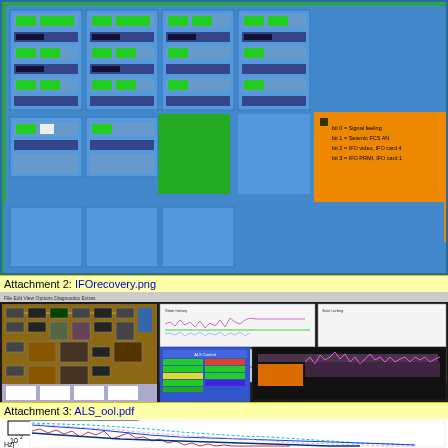[Figure (screenshot): Control room monitor screenshot with multiple panels showing green indicator lights, control buttons (Quit shots, Quit video, T global stop reset, T watchdog restart), and an orange information panel with legend text on a blue background.]
Attachment 2: IFOrecovery.png
[Figure (screenshot): IFO recovery screenshot showing control flow diagram (brown background with black and colored blocks), signal time series plots (showing noise and lock acquisition), a blue control GUI panel, and a dark spectrogram/spectrum display with orange, pink, and purple traces.]
Attachment 3: ALS_ool.pdf
[Figure (continuous-plot): Out of loop ALS noise plot with y-axis labeled Hz and showing 10^2 scale, with multiple colored traces (blue, cyan dashed, pink dashed, red, magenta) descending from upper left to lower right on a log-log scale.]